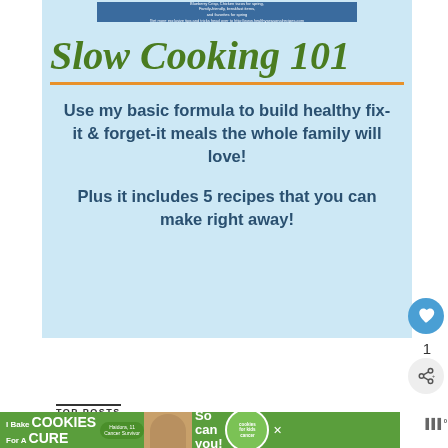[Figure (screenshot): Top of a webpage showing a small banner with text about healthy cooking tips]
Slow Cooking 101
Use my basic formula to build healthy fix-it & forget-it meals the whole family will love!
Plus it includes 5 recipes that you can make right away!
1
TOP POSTS
[Figure (screenshot): Advertisement banner: I Bake COOKIES For A CURE - Haidora, 11 Cancer Survivor - So can you! - cookies for kids cancer logo]